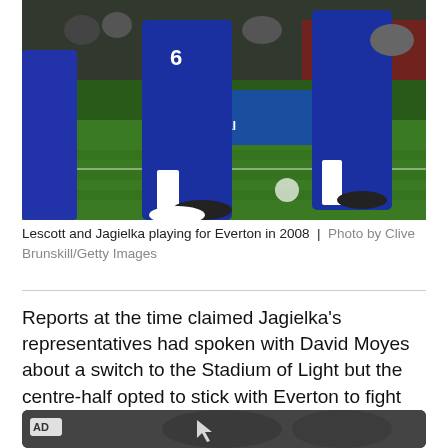[Figure (photo): Football players in blue Everton kits running on a green pitch, action shot from a 2008 match]
Lescott and Jagielka playing for Everton in 2008  |  Photo by Clive Brunskill/Getty Images
Reports at the time claimed Jagielka's representatives had spoken with David Moyes about a switch to the Stadium of Light but the centre-half opted to stick with Everton to fight for his place in the Toffees' back line.
[Figure (photo): AD banner with dark background showing partial sports imagery]